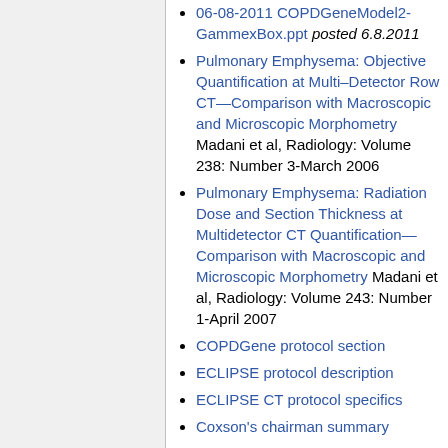06-08-2011 COPDGeneModel2-GammexBox.ppt posted 6.8.2011
Pulmonary Emphysema: Objective Quantification at Multi–Detector Row CT—Comparison with Macroscopic and Microscopic Morphometry Madani et al, Radiology: Volume 238: Number 3-March 2006
Pulmonary Emphysema: Radiation Dose and Section Thickness at Multidetector CT Quantification—Comparison with Macroscopic and Microscopic Morphometry Madani et al, Radiology: Volume 243: Number 1-April 2007
COPDGene protocol section
ECLIPSE protocol description
ECLIPSE CT protocol specifics
Coxson's chairman summary